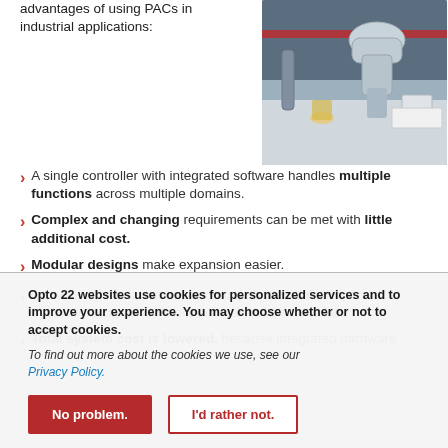advantages of using PACs in industrial applications:
[Figure (photo): Industrial robotic arm working in a laboratory/manufacturing setting with glassware and equipment]
A single controller with integrated software handles multiple functions across multiple domains.
Complex and changing requirements can be met with little additional cost.
Modular designs make expansion easier.
Networking and communication capabilities link disparate systems and provide more accurate and timely data.
Total system cost is lowered, because integrated hardware
Opto 22 websites use cookies for personalized services and to improve your experience. You may choose whether or not to accept cookies.
To find out more about the cookies we use, see our Privacy Policy.